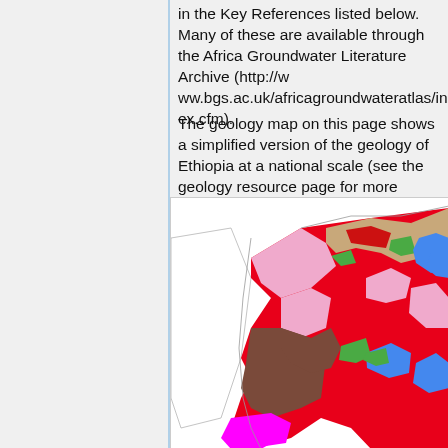in the Key References listed below. Many of these are available through the Africa Groundwater Literature Archive (http://www.bgs.ac.uk/africagroundwateratlas/index.cfm).
The geology map on this page shows a simplified version of the geology of Ethiopia at a national scale (see the geology resource page for more details).
[Figure (map): Simplified geology map of Ethiopia showing colored regions representing different geological formations including volcanic (red), sedimentary (brown, tan), and other lithological units.]